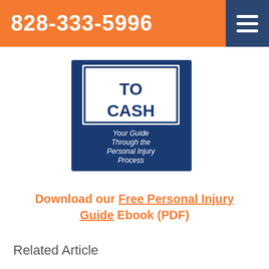828-333-5996
[Figure (photo): Book cover showing 'TO CASH' text with subtitle 'Your Guide Through the Personal Injury Process' on a blue background]
Download our Free Personal Injury Guide Ebook (PDF)
Related Article